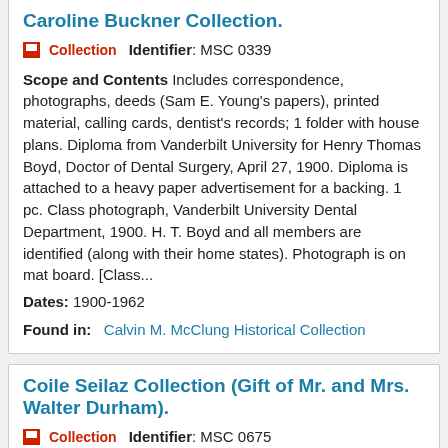Caroline Buckner Collection.
Collection   Identifier: MSC 0339
Scope and Contents Includes correspondence, photographs, deeds (Sam E. Young's papers), printed material, calling cards, dentist's records; 1 folder with house plans. Diploma from Vanderbilt University for Henry Thomas Boyd, Doctor of Dental Surgery, April 27, 1900. Diploma is attached to a heavy paper advertisement for a backing. 1 pc. Class photograph, Vanderbilt University Dental Department, 1900. H. T. Boyd and all members are identified (along with their home states). Photograph is on mat board. [Class...
Dates: 1900-1962
Found in:   Calvin M. McClung Historical Collection
Coile Seilaz Collection (Gift of Mr. and Mrs. Walter Durham).
Collection   Identifier: MSC 0675
Scope and Contents Includes: Armstrong, Seilaz, Buffat family photographs. 24 photographs, 1 framed; and more including invitation sheets...